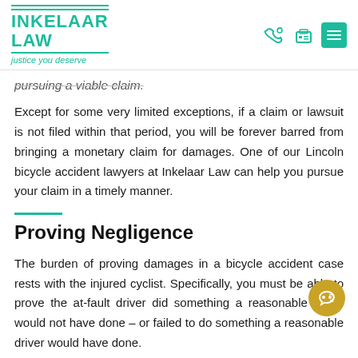Inkelaar Law — justice you deserve
pursuing a viable claim.
Except for some very limited exceptions, if a claim or lawsuit is not filed within that period, you will be forever barred from bringing a monetary claim for damages. One of our Lincoln bicycle accident lawyers at Inkelaar Law can help you pursue your claim in a timely manner.
Proving Negligence
The burden of proving damages in a bicycle accident case rests with the injured cyclist. Specifically, you must be able to prove the at-fault driver did something a reasonable driver would not have done – or failed to do something a reasonable driver would have done.